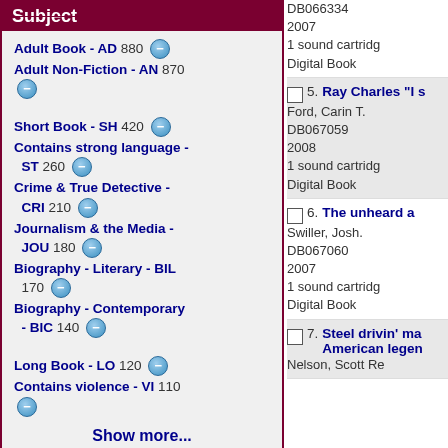Subject
Adult Book - AD 880
Adult Non-Fiction - AN 870
Short Book - SH 420
Contains strong language - ST 260
Crime & True Detective - CRI 210
Journalism & the Media - JOU 180
Biography - Literary - BIL 170
Biography - Contemporary - BIC 140
Long Book - LO 120
Contains violence - VI 110
Show more...
DB066334
2007
1 sound cartridge
Digital Book
5. Ray Charles "I ...
Ford, Carin T.
DB067059
2008
1 sound cartridge
Digital Book
6. The unheard a...
Swiller, Josh.
DB067060
2007
1 sound cartridge
Digital Book
7. Steel drivin' ma... American legen...
Nelson, Scott Re...